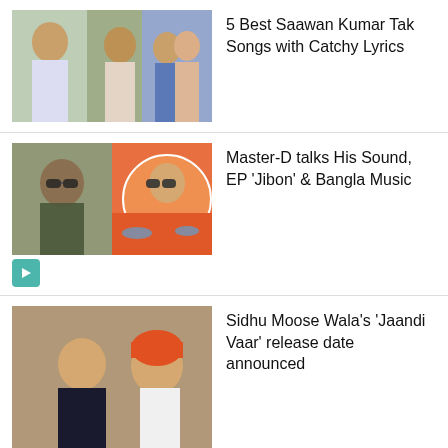[Figure (photo): Three Bollywood celebrities, two men and a woman from a film/song]
5 Best Saawan Kumar Tak Songs with Catchy Lyrics
[Figure (photo): Master-D composite image with man in sunglasses and colorful illustrated background]
Master-D talks His Sound, EP ‘Jibon’ & Bangla Music
[Figure (photo): Two men posing together, one wearing orange turban]
Sidhu Moose Wala’s ‘Jaandi Vaar’ release date announced
English